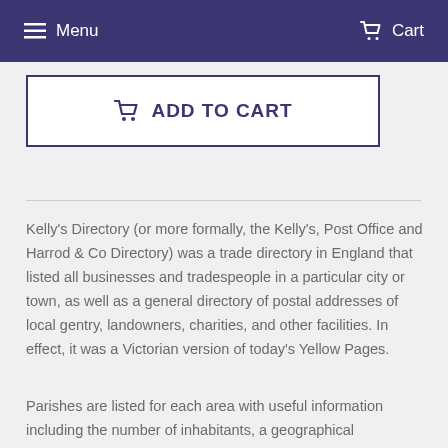Menu  Cart
ADD TO CART
Kelly's Directory (or more formally, the Kelly's, Post Office and Harrod & Co Directory) was a trade directory in England that listed all businesses and tradespeople in a particular city or town, as well as a general directory of postal addresses of local gentry, landowners, charities, and other facilities. In effect, it was a Victorian version of today's Yellow Pages.
Parishes are listed for each area with useful information including the number of inhabitants, a geographical description and the main trades and industries of the area